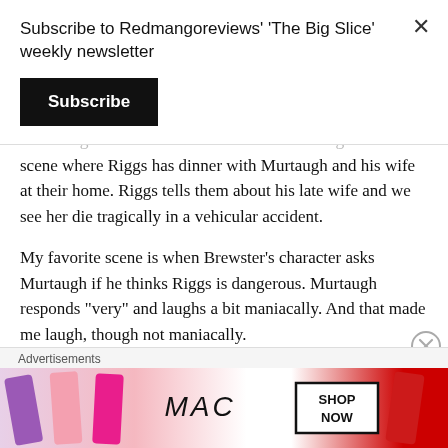Subscribe to Redmangoreviews' 'The Big Slice' weekly newsletter
Subscribe
We also get some emotion in the trailer during a scene where Riggs has dinner with Murtaugh and his wife at their home. Riggs tells them about his late wife and we see her die tragically in a vehicular accident.
My favorite scene is when Brewster’s character asks Murtaugh if he thinks Riggs is dangerous. Murtaugh responds “very” and laughs a bit maniacally. And that made me laugh, though not maniacally.
Advertisements